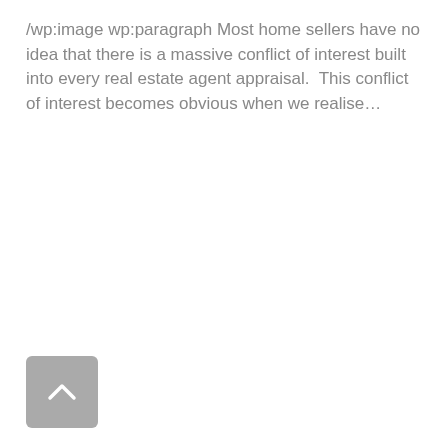/wp:image wp:paragraph Most home sellers have no idea that there is a massive conflict of interest built into every real estate agent appraisal.  This conflict of interest becomes obvious when we realise…
[Figure (other): A grey rounded square button with a white upward-pointing chevron/caret arrow, used as a scroll-to-top navigation button.]